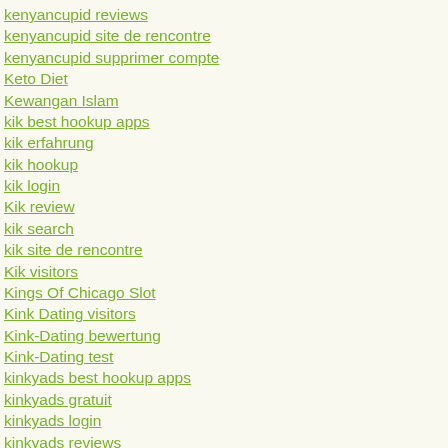kenyancupid reviews
kenyancupid site de rencontre
kenyancupid supprimer compte
Keto Diet
Kewangan Islam
kik best hookup apps
kik erfahrung
kik hookup
kik login
Kik review
kik search
kik site de rencontre
Kik visitors
Kings Of Chicago Slot
Kink Dating visitors
Kink-Dating bewertung
Kink-Dating test
kinkyads best hookup apps
kinkyads gratuit
kinkyads login
kinkyads reviews
Kinkyads username
Kinkyads visitors
KissNoFrog kosten
kitty glitter slot